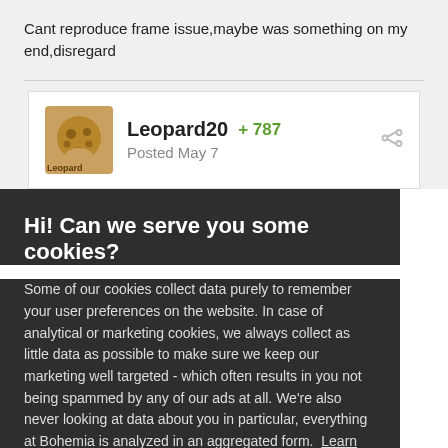Cant reproduce frame issue,maybe was something on my end,disregard
Leopard20  +787  Posted May 7
Hi! Can we serve you some cookies?
Some of our cookies collect data purely to remember your user preferences on the website. In case of analytical or marketing cookies, we always collect as little data as possible to make sure we keep our marketing well targeted - which often results in you not being spammed by any of our ads at all. We're also never looking at data about you in particular, everything at Bohemia is analyzed in an aggregated form. Learn more
Allow all cookies
I want more options